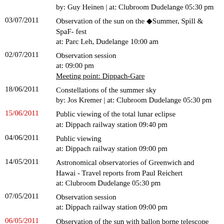by: Guy Heinen | at: Clubroom Dudelange 05:30 pm
03/07/2011 Observation of the sun on the ◆Summer, Spill & SpaF- fest at: Parc Leh, Dudelange 10:00 am
02/07/2011 Observation session at: 09:00 pm Meeting point: Dippach-Gare
18/06/2011 Constellations of the summer sky by: Jos Kremer | at: Clubroom Dudelange 05:30 pm
15/06/2011 Public viewing of the total lunar eclipse at: Dippach railway station 09:40 pm
04/06/2011 Public viewing at: Dippach railway station 09:00 pm
14/05/2011 Astronomical observatories of Greenwich and Hawai - Travel reports from Paul Reichert at: Clubroom Dudelange 05:30 pm
07/05/2011 Observation session at: Dippach railway station 09:00 pm
06/05/2011 Observation of the sun with ballon borne telescope ◆Sunrise◆ - Lecture by Dr. Alex FELLER, Max Planck Institute for Solar System Research